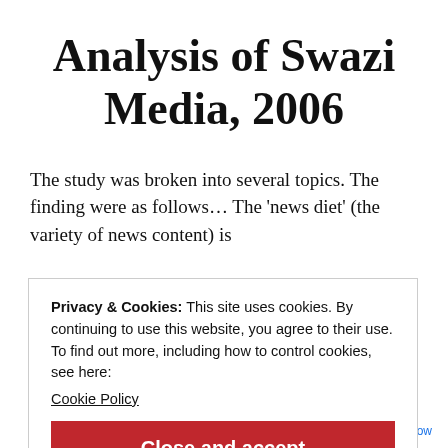Analysis of Swazi Media, 2006
The study was broken into several topics. The finding were as follows… The 'news diet' (the variety of news content) is
Privacy & Cookies: This site uses cookies. By continuing to use this website, you agree to their use.
To find out more, including how to control cookies, see here:
Cookie Policy
Close and accept